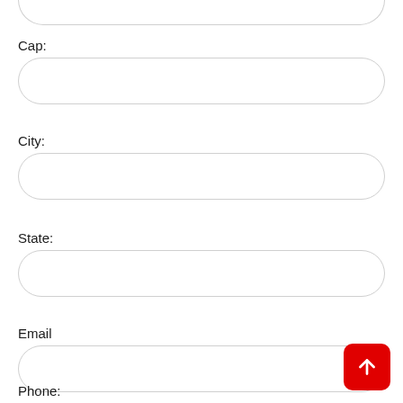Cap:
City:
State:
Email
Phone: